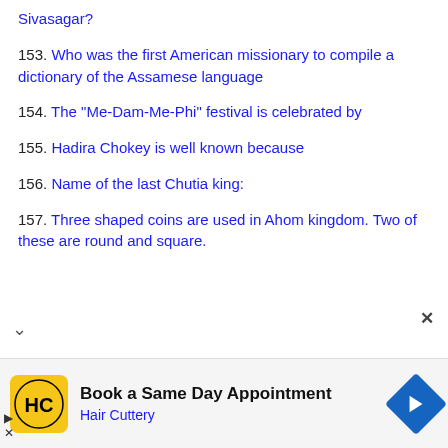Sivasagar?
153. Who was the first American missionary to compile a dictionary of the Assamese language
154. The “Me-Dam-Me-Phi” festival is celebrated by
155. Hadira Chokey is well known because
156. Name of the last Chutia king:
157. Three shaped coins are used in Ahom kingdom. Two of these are round and square.
[Figure (infographic): Advertisement bar for Hair Cuttery: Book a Same Day Appointment, with yellow HC logo, navigation arrow icon, play button and close (x) controls.]